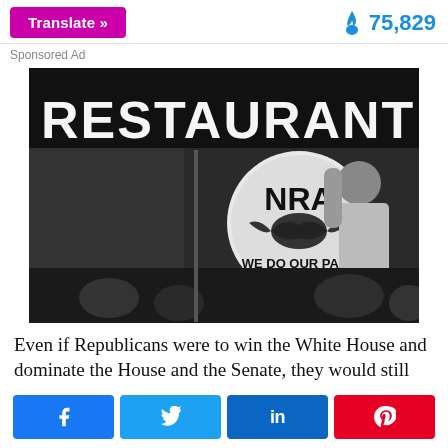Translate » | 🔥 75,829
Sponsored Ad
[Figure (photo): Black and white historical photo of a person holding an NRA 'We Do Our Part' banner, with the word RESTAURANT visible in large letters in the background.]
Even if Republicans were to win the White House and dominate the House and the Senate, they would still
[Figure (infographic): Social share buttons: Facebook, Twitter, LinkedIn, Pinterest]